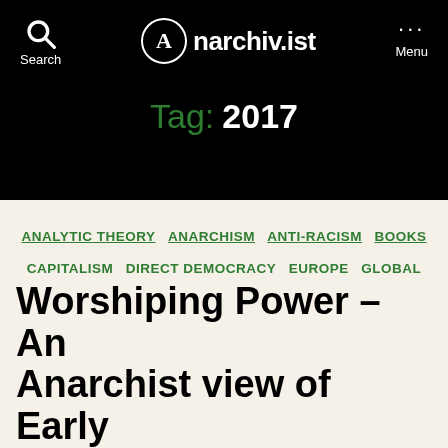anarchiv.ist
Tag: 2017
ANALYTIC THEORY  ANARCHISM  ANTI-RACISM  BOOKS  CAPITALISM  DIRECT DEMOCRACY  EUROPE  GLOBAL  INDIGENOUS RIGHTS  LONGUE DURÉE  MIDDLE EAST  PATRIARCHY  STATISM - REPRESENTATIONISM  STRATEGIC THEORY  VALUES THEORY  WHITE SUPREMACY
Worshiping Power – An Anarchist view of Early